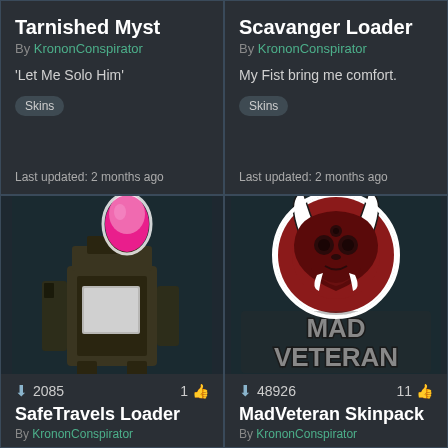Tarnished Myst
By KrononConspirator
'Let Me Solo Him'
Skins
Last updated: 2 months ago
Scavanger Loader
By KrononConspirator
My Fist bring me comfort.
Skins
Last updated: 2 months ago
[Figure (photo): SafeTravels Loader skin image showing a mechanical loader with a pink mushroom/character on top]
2085  1
SafeTravels Loader
By KrononConspirator
[Figure (logo): MadVeteran Skinpack logo showing a red horned creature mascot above stylized gray text reading MAD VETERAN]
48926  11
MadVeteran Skinpack
By KrononConspirator